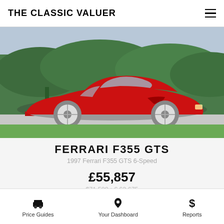THE CLASSIC VALUER
[Figure (photo): Red 1997 Ferrari F355 GTS parked on a suburban street with green hedges in the background]
FERRARI F355 GTS
1997 Ferrari F355 GTS 6-Speed
£55,857
$71,500 • € 63,675
9TH JUN 2017
Bring A Trailer • 2017
Price Guides   Your Dashboard   Reports